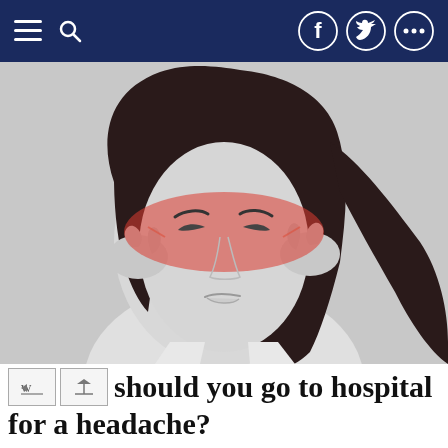Navigation bar with hamburger menu, search icon, Facebook, Twitter, and more (share) icons
[Figure (photo): Black and white photo of a young woman grimacing in pain, holding both hands to her temples, with a red highlighted area across her forehead and eyes indicating headache pain.]
When should you go to hospital for a headache?